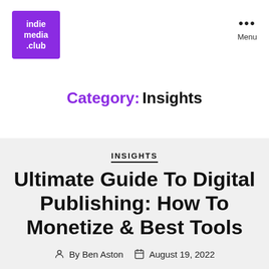[Figure (logo): Indie Media Club purple logo with white text reading 'indie media .club']
Menu
Category: Insights
INSIGHTS
Ultimate Guide To Digital Publishing: How To Monetize & Best Tools
By Ben Aston   August 19, 2022